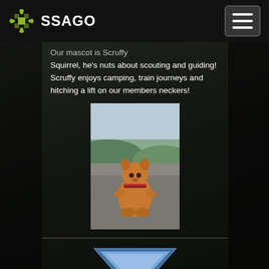SSAGO
Our mascot is Scruffy Squirrel, he's nuts about scouting and guiding! Scruffy enjoys camping, train journeys and hitching a lift on our members neckers!
[Figure (photo): Photo of Scruffy Squirrel mascot (small orange squirrel toy) sitting on a road with green hills in the background]
Kernow SSAGO
[Figure (logo): Kernow SSAGO downward-pointing triangle logo in blue/steel color]
Our stealable mascot is Patsy the Pasty! She has a non-